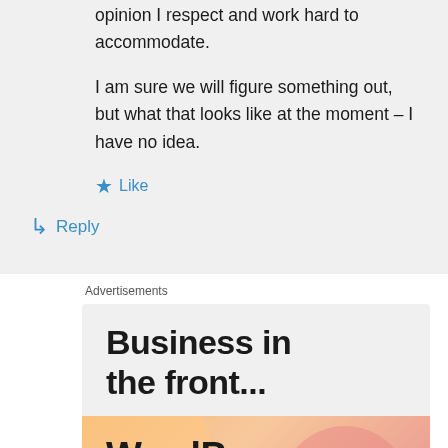opinion I respect and work hard to accommodate.
I am sure we will figure something out, but what that looks like at the moment – I have no idea.
★ Like
↳ Reply
Advertisements
Business in the front...
[Figure (illustration): WordPress advertisement with orange-pink gradient background and large bold text reading 'WordPress in the back.']